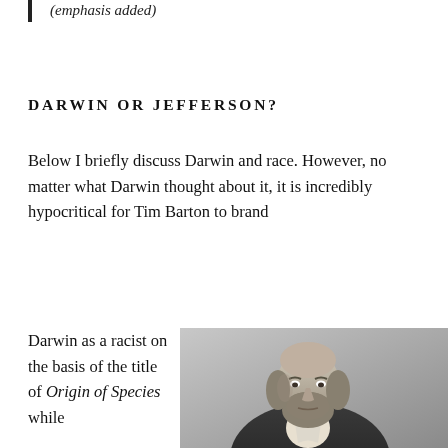(emphasis added)
DARWIN OR JEFFERSON?
Below I briefly discuss Darwin and race. However, no matter what Darwin thought about it, it is incredibly hypocritical for Tim Barton to brand
Darwin as a racist on the basis of the title of Origin of Species while
[Figure (photo): Black and white portrait photograph of Charles Darwin, an elderly bearded man in a dark coat, facing slightly left.]